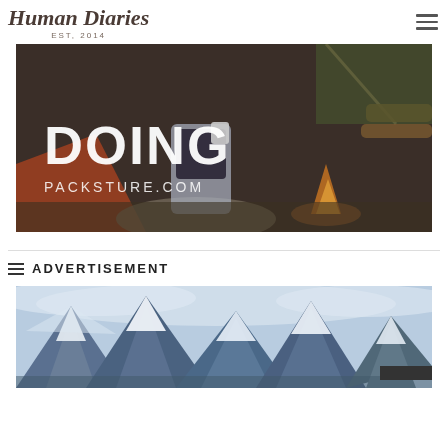Human Diaries EST, 2014
[Figure (photo): Person sitting near a tent and campfire, with overlaid text reading DOING and PACKSTURE.COM]
[Figure (photo): Mountain landscape with snow-capped peaks and cloudy sky]
ADVERTISEMENT